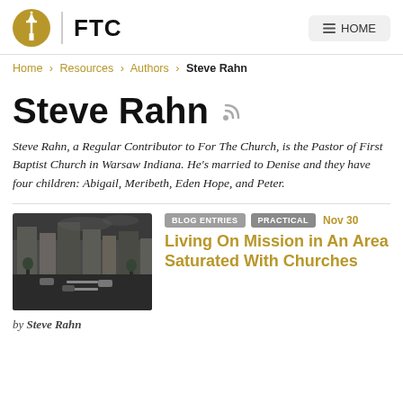FTC | HOME
Home › Resources › Authors › Steve Rahn
Steve Rahn
Steve Rahn, a Regular Contributor to For The Church, is the Pastor of First Baptist Church in Warsaw Indiana. He's married to Denise and they have four children: Abigail, Meribeth, Eden Hope, and Peter.
[Figure (photo): Aerial/street view photo of a town with buildings, streets and cars, dark moody tone]
BLOG ENTRIES  PRACTICAL  Nov 30
Living On Mission in An Area Saturated With Churches
by Steve Rahn